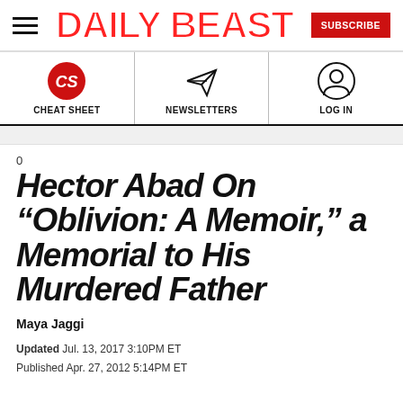DAILY BEAST
[Figure (logo): Daily Beast site header with hamburger menu, DAILY BEAST logo in red, and SUBSCRIBE button]
[Figure (infographic): Navigation bar with three items: CHEAT SHEET (red CS circle logo), NEWSLETTERS (paper airplane icon), LOG IN (person silhouette icon)]
0
Hector Abad On “Oblivion: A Memoir,” a Memorial to His Murdered Father
Maya Jaggi
Updated Jul. 13, 2017 3:10PM ET
Published Apr. 27, 2012 5:14PM ET